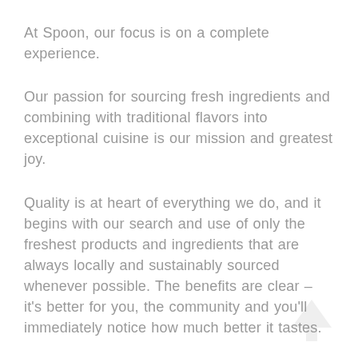At Spoon, our focus is on a complete experience.
Our passion for sourcing fresh ingredients and combining with traditional flavors into exceptional cuisine is our mission and greatest joy.
Quality is at heart of everything we do, and it begins with our search and use of only the freshest products and ingredients that are always locally and sustainably sourced whenever possible. The benefits are clear – it's better for you, the community and you'll immediately notice how much better it tastes.